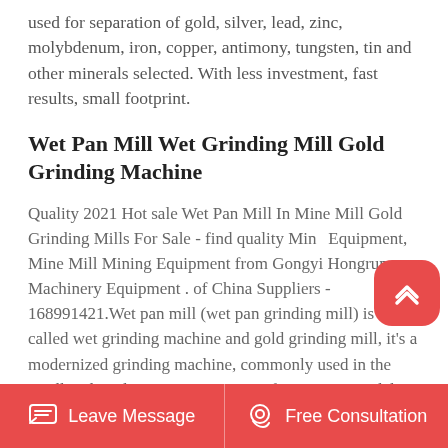used for separation of gold, silver, lead, zinc, molybdenum, iron, copper, antimony, tungsten, tin and other minerals selected. With less investment, fast results, small footprint.
Wet Pan Mill Wet Grinding Mill Gold Grinding Machine
Quality 2021 Hot sale Wet Pan Mill In Mine Mill Gold Grinding Mills For Sale - find quality Mine Equipment, Mine Mill Mining Equipment from Gongyi Hongrun Machinery Equipment . of China Suppliers - 168991421.Wet pan mill (wet pan grinding mill) is also called wet grinding machine and gold grinding mill, it's a modernized grinding machine, commonly used in the small and medium size concentrate factory. It is widely
Leave Message   Free Consultation